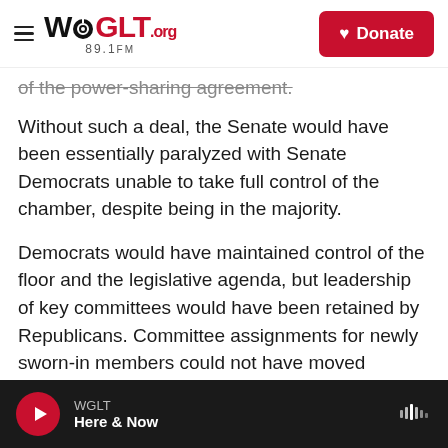WGLT.org 89.1FM | Donate
of the power-sharing agreement.
Without such a deal, the Senate would have been essentially paralyzed with Senate Democrats unable to take full control of the chamber, despite being in the majority.
Democrats would have maintained control of the floor and the legislative agenda, but leadership of key committees would have been retained by Republicans. Committee assignments for newly sworn-in members could not have moved forward and key legislative priorities for the new Biden administration, including a $1.9 trillion coronavirus
WGLT | Here & Now